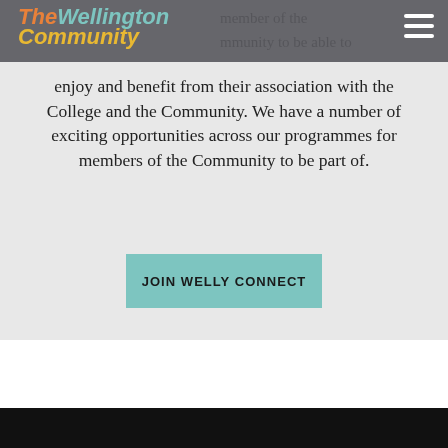The Wellington Community
member of the community to be able to enjoy and benefit from their association with the College and the Community. We have a number of exciting opportunities across our programmes for members of the Community to be part of.
JOIN WELLY CONNECT